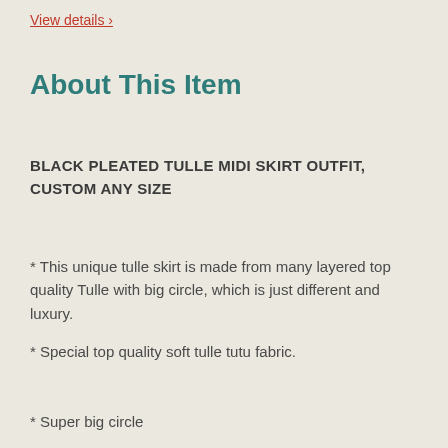View details ›
About This Item
BLACK PLEATED TULLE MIDI SKIRT OUTFIT, CUSTOM ANY SIZE
* This unique tulle skirt is made from many layered top quality Tulle with big circle, which is just different and luxury.
* Special top quality soft tulle tutu fabric.
* Super big circle